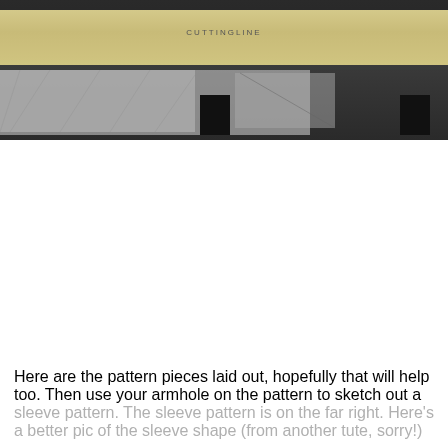[Figure (photo): Photo of sewing pattern pieces laid out on a dark table, with a long ruler or strip of light-colored material across the top, and paper pattern pieces below with black clips or markers visible.]
Here are the pattern pieces laid out, hopefully that will help too. Then use your armhole on the pattern to sketch out a sleeve pattern. The sleeve pattern is on the far right. Here's a better pic of the sleeve shape (from another tute, sorry!)